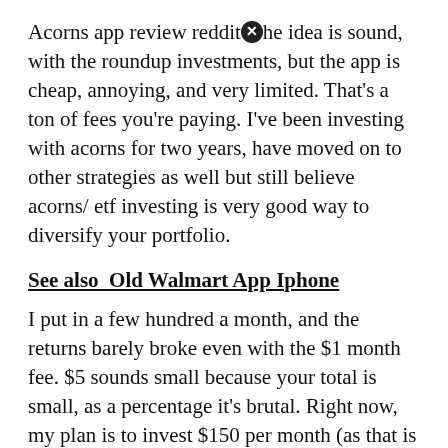Acorns app review reddit. The idea is sound, with the roundup investments, but the app is cheap, annoying, and very limited. That's a ton of fees you're paying. I've been investing with acorns for two years, have moved on to other strategies as well but still believe acorns/ etf investing is very good way to diversify your portfolio.
See also  Old Walmart App Iphone
I put in a few hundred a month, and the returns barely broke even with the $1 month fee. $5 sounds small because your total is small, as a percentage it's brutal. Right now, my plan is to invest $150 per month (as that is all i can afford).